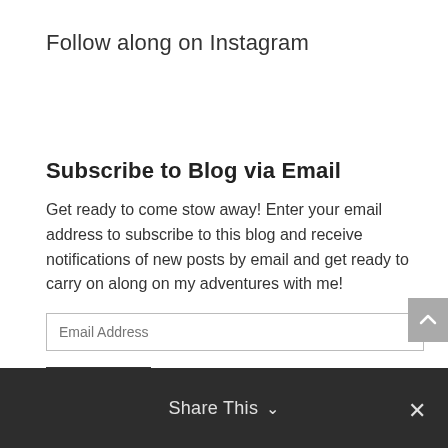Follow along on Instagram
Subscribe to Blog via Email
Get ready to come stow away! Enter your email address to subscribe to this blog and receive notifications of new posts by email and get ready to carry on along on my adventures with me!
Email Address
Subscribe
Share This ∨  ✕